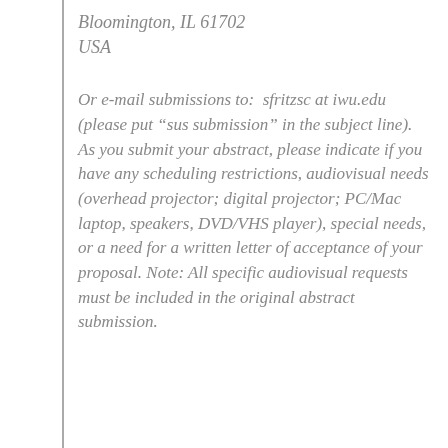Bloomington, IL 61702
USA
Or e-mail submissions to:  sfritzsc at iwu.edu (please put “sus submission” in the subject line).  As you submit your abstract, please indicate if you have any scheduling restrictions, audiovisual needs (overhead projector; digital projector; PC/Mac laptop, speakers, DVD/VHS player), special needs, or a need for a written letter of acceptance of your proposal. Note: All specific audiovisual requests must be included in the original abstract submission.